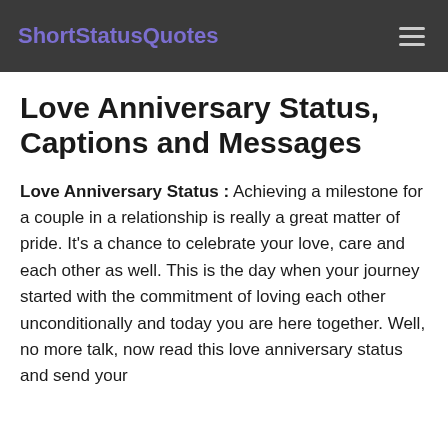ShortStatusQuotes
Love Anniversary Status, Captions and Messages
Love Anniversary Status : Achieving a milestone for a couple in a relationship is really a great matter of pride. It's a chance to celebrate your love, care and each other as well. This is the day when your journey started with the commitment of loving each other unconditionally and today you are here together. Well, no more talk, now read this love anniversary status and send your